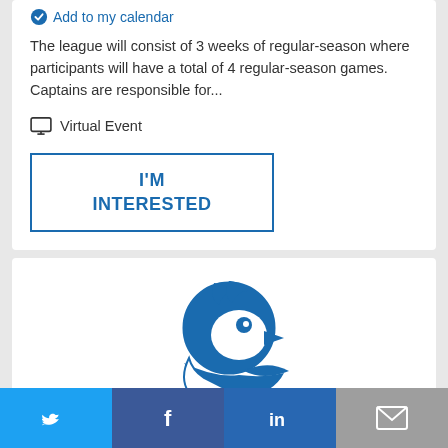Add to my calendar
The league will consist of 3 weeks of regular-season where participants will have a total of 4 regular-season games. Captains are responsible for...
Virtual Event
[Figure (other): Button with text I'M INTERESTED in blue border]
[Figure (logo): Blue mascot logo — Blue Jay or similar bird mascot in blue and white]
[Figure (other): Social share bar with Twitter, Facebook, LinkedIn, and Email buttons]